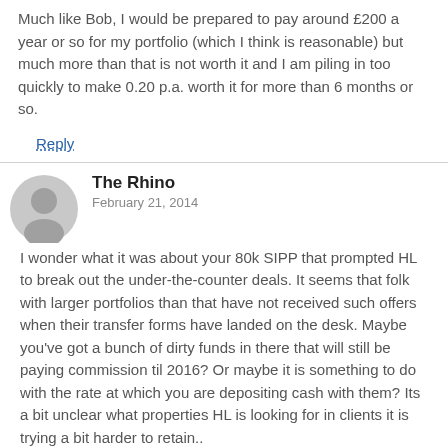Much like Bob, I would be prepared to pay around £200 a year or so for my portfolio (which I think is reasonable) but much more than that is not worth it and I am piling in too quickly to make 0.20 p.a. worth it for more than 6 months or so.
Reply
The Rhino
February 21, 2014
I wonder what it was about your 80k SIPP that prompted HL to break out the under-the-counter deals. It seems that folk with larger portfolios than that have not received such offers when their transfer forms have landed on the desk. Maybe you've got a bunch of dirty funds in there that will still be paying commission til 2016? Or maybe it is something to do with the rate at which you are depositing cash with them? Its a bit unclear what properties HL is looking for in clients it is trying a bit harder to retain..
Reply
Phife